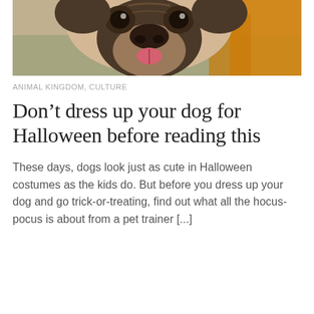[Figure (photo): Close-up photo of a pug dog wearing a Halloween costume (orange/yellow), looking at the camera with its tongue out, against a blurred outdoor background.]
ANIMAL KINGDOM, CULTURE
Don’t dress up your dog for Halloween before reading this
These days, dogs look just as cute in Halloween costumes as the kids do. But before you dress up your dog and go trick-or-treating, find out what all the hocus-pocus is about from a pet trainer [...]